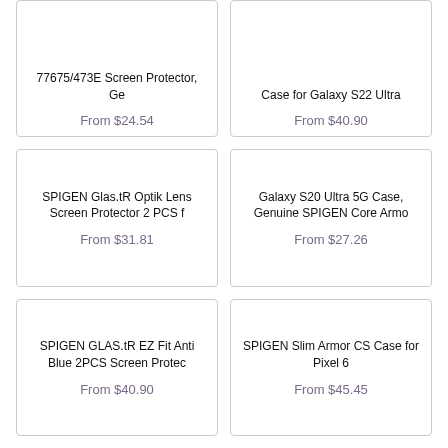77675/473E Screen Protector, Ge
From $24.54
Case for Galaxy S22 Ultra
From $40.90
SPIGEN Glas.tR Optik Lens Screen Protector 2 PCS f
From $31.81
Galaxy S20 Ultra 5G Case, Genuine SPIGEN Core Armo
From $27.26
SPIGEN GLAS.tR EZ Fit Anti Blue 2PCS Screen Protec
From $40.90
SPIGEN Slim Armor CS Case for Pixel 6
From $45.45